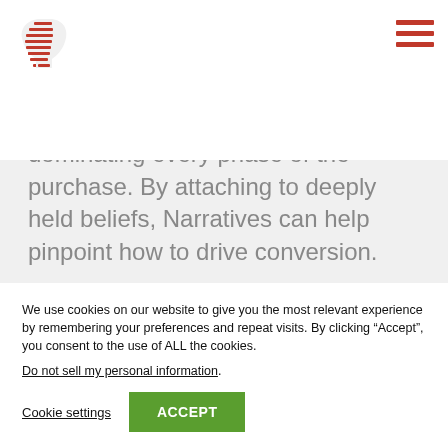[Figure (logo): Red stylized head/brain profile logo icon]
approach, the better you'll become at dominating every phase of the purchase. By attaching to deeply held beliefs, Narratives can help pinpoint how to drive conversion.
We use cookies on our website to give you the most relevant experience by remembering your preferences and repeat visits. By clicking “Accept”, you consent to the use of ALL the cookies.
Do not sell my personal information.
Cookie settings
ACCEPT